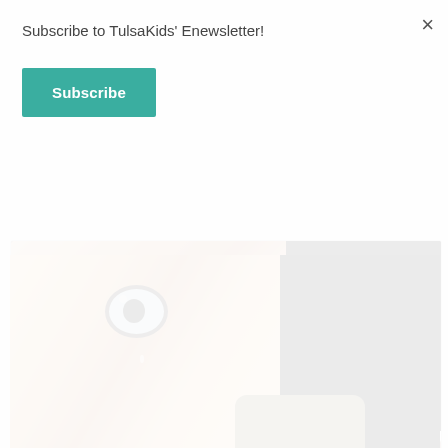Subscribe to TulsaKids' Enewsletter!
Subscribe
[Figure (photo): Close-up photo of a child's face with a wide eye looking upward, against a dark black background, with a tan/khaki shoulder visible]
Evicting the Boogy Man:
Teaching Children how to Quiet Anxious Thoughts
[Figure (photo): Photo of a woman with short brown hair centered between two blurred face images on either side]